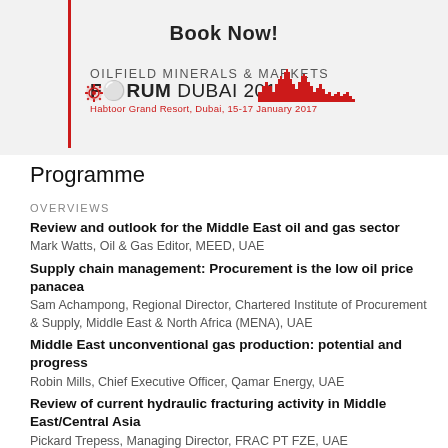Book Now!
[Figure (logo): Oilfield Minerals & Markets Forum Dubai 2017 logo with red gear icon and Dubai skyline silhouette. Text: OILFIELD MINERALS & MARKETS FORUM DUBAI 2017. Habtoor Grand Resort, Dubai, 15-17 January 2017]
Programme
OVERVIEWS
Review and outlook for the Middle East oil and gas sector
Mark Watts, Oil & Gas Editor, MEED, UAE
Supply chain management: Procurement is the low oil price panacea
Sam Achampong, Regional Director, Chartered Institute of Procurement & Supply, Middle East & North Africa (MENA), UAE
Middle East unconventional gas production: potential and progress
Robin Mills, Chief Executive Officer, Qamar Energy, UAE
Review of current hydraulic fracturing activity in Middle East/Central Asia
Pickard Trepess, Managing Director, FRAC PT FZE, UAE